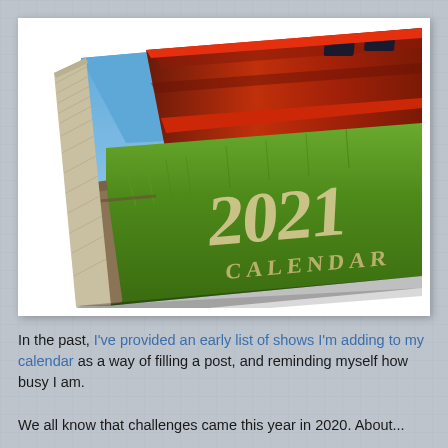[Figure (photo): A 2021 calendar with cover showing a red train locomotive over green grassland field under blue sky, photographed at an angle showing the calendar's depth/thickness]
In the past, I've provided an early list of shows I'm adding to my calendar as a way of filling a post, and reminding myself how busy I am.
We all know that challenges came this year in 2020. About...